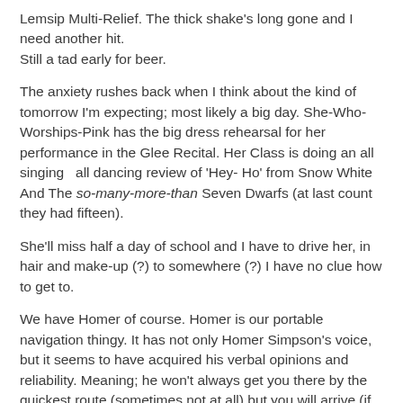Lemsip Multi-Relief. The thick shake's long gone and I need another hit.
Still a tad early for beer.
The anxiety rushes back when I think about the kind of tomorrow I'm expecting; most likely a big day. She-Who-Worships-Pink has the big dress rehearsal for her performance in the Glee Recital. Her Class is doing an all singing  all dancing review of 'Hey- Ho' from Snow White And The so-many-more-than Seven Dwarfs (at last count they had fifteen).
She'll miss half a day of school and I have to drive her, in hair and make-up (?) to somewhere (?) I have no clue how to get to.
We have Homer of course. Homer is our portable navigation thingy. It has not only Homer Simpson's voice, but it seems to have acquired his verbal opinions and reliability. Meaning; he won't always get you there by the quickest route (sometimes not at all) but you will arrive (if you do) laughing.